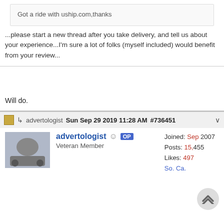Got a ride with uship.com,thanks
...please start a new thread after you take delivery, and tell us about your experience...I'm sure a lot of folks (myself included) would benefit from your review...
Will do.
advertologist  Sun Sep 29 2019 11:28 AM  #736451
advertologist  OP  Veteran Member  Joined: Sep 2007  Posts: 15,455  Likes: 497  So. Ca.